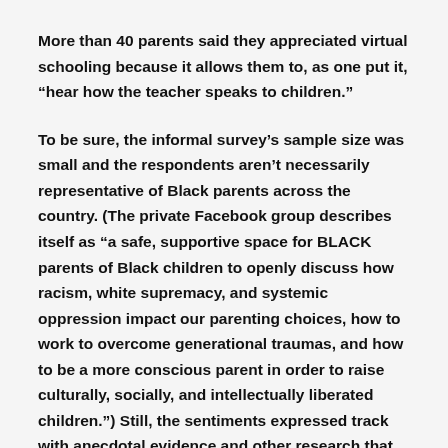More than 40 parents said they appreciated virtual schooling because it allows them to, as one put it, “hear how the teacher speaks to children.”
To be sure, the informal survey's sample size was small and the respondents aren’t necessarily representative of Black parents across the country. (The private Facebook group describes itself as “a safe, supportive space for BLACK parents of Black children to openly discuss how racism, white supremacy, and systemic oppression impact our parenting choices, how to work to overcome generational traumas, and how to be a more conscious parent in order to raise culturally, socially, and intellectually liberated children.”) Still, the sentiments expressed track with anecdotal evidence and other research that links Black parents’ motivations for home-schooling to perceptions of